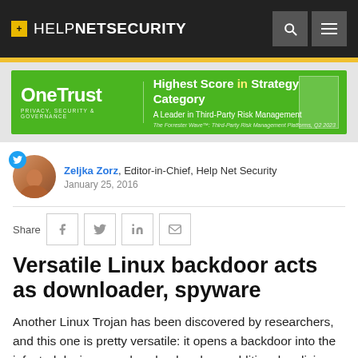+ HELPNETSECURITY
[Figure (illustration): OneTrust advertisement banner - green background with OneTrust logo, text 'Highest Score in Strategy Category, A Leader in Third-Party Risk Management']
Zeljka Zorz, Editor-in-Chief, Help Net Security
January 25, 2016
Versatile Linux backdoor acts as downloader, spyware
Another Linux Trojan has been discovered by researchers, and this one is pretty versatile: it opens a backdoor into the infected device, can download and run additional malicious files, and can spy on users by logging keystrokes